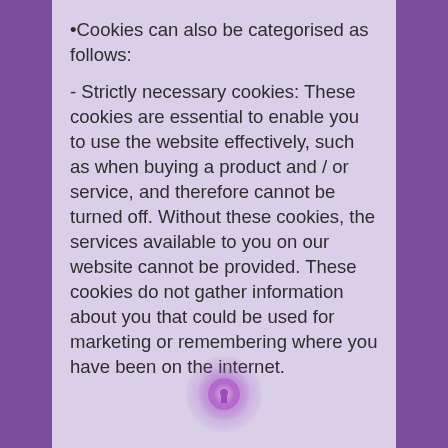•Cookies can also be categorised as follows:
- Strictly necessary cookies: These cookies are essential to enable you to use the website effectively, such as when buying a product and / or service, and therefore cannot be turned off. Without these cookies, the services available to you on our website cannot be provided. These cookies do not gather information about you that could be used for marketing or remembering where you have been on the internet.
[Figure (illustration): Small circular icon with a lock or settings symbol, blurred purple/violet color, centered at bottom of the content area]